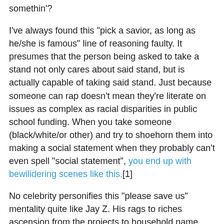somethin'?
I've always found this "pick a savior, as long as he/she is famous" line of reasoning faulty. It presumes that the person being asked to take a stand not only cares about said stand, but is actually capable of taking said stand. Just because someone can rap doesn't mean they're literate on issues as complex as racial disparities in public school funding. When you take someone (black/white/or other) and try to shoehorn them into making a social statement when they probably can't even spell "social statement", you end up with bewilidering scenes like this.[1]
No celebrity personifies this "please save us" mentality quite like Jay Z. His rags to riches ascension from the projects to household name has been told (and embellished) ad nauseum. He's the rare rapper who can get away with calling his own wife a b*tch in a song, and skirt charges of sexism. [2] He allows himself to be used as the smiling public face of emminent domain, yet can spin it by claiming he "owns the team", when he owned about as much of the Nets as I own Sirius XM. He's a walking, talking contridiction. Actually,